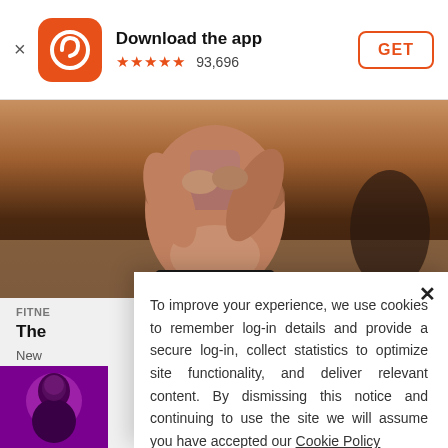[Figure (screenshot): App download banner with orange app icon, title 'Download the app', 5 orange stars, 93,696 reviews, and an orange-bordered GET button]
[Figure (photo): Hero photo of a person in yoga/fitness pose, cropped mid-body showing abdomen and arms crossed]
FITNE
The
New
[Figure (photo): Thumbnail photo of a person with purple/pink background]
SUPPORT BLACK-OWNED
To improve your experience, we use cookies to remember log-in details and provide a secure log-in, collect statistics to optimize site functionality, and deliver relevant content. By dismissing this notice and continuing to use the site we will assume you have accepted our Cookie Policy